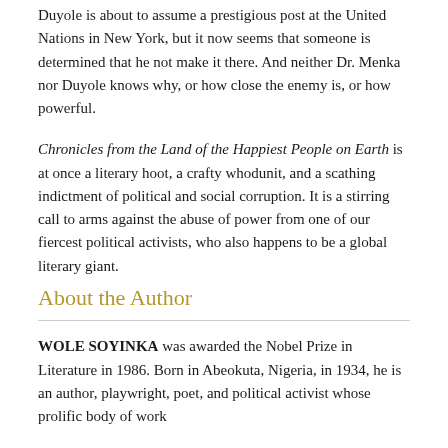Duyole is about to assume a prestigious post at the United Nations in New York, but it now seems that someone is determined that he not make it there. And neither Dr. Menka nor Duyole knows why, or how close the enemy is, or how powerful.
Chronicles from the Land of the Happiest People on Earth is at once a literary hoot, a crafty whodunit, and a scathing indictment of political and social corruption. It is a stirring call to arms against the abuse of power from one of our fiercest political activists, who also happens to be a global literary giant.
About the Author
WOLE SOYINKA was awarded the Nobel Prize in Literature in 1986. Born in Abeokuta, Nigeria, in 1934, he is an author, playwright, poet, and political activist whose prolific body of work